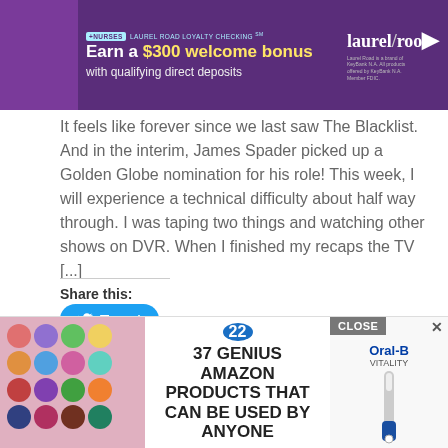[Figure (photo): Purple advertisement banner for Laurel Road Loyalty Checking for nurses. Text reads '+NURSES LAUREL ROAD LOYALTY CHECKING SM – Earn a $300 welcome bonus with qualifying direct deposits'. Laurel Road logo on right with small disclaimer text.]
It feels like forever since we last saw The Blacklist.  And in the interim, James Spader picked up a Golden Globe nomination for his role! This week, I will experience a technical difficulty about half way through. I was taping two things and watching other shows on DVR. When I finished my recaps the TV [...]
Share this:
[Figure (other): Blue Tweet button with Twitter bird icon]
FILED UNDER: ENTERTAINMENT NEWS
TAGGED WITH: AGENT RESSLER, ALAN ALDA, ANSLO GREYSON, K,
ARAMI... JAMES SPADE... KLIST,
THE FE...
[Figure (photo): Bottom overlay advertisement area showing colorful scrunchies on left, '22 – 37 GENIUS AMAZON PRODUCTS THAT CAN BE USED BY ANYONE' in middle, and Oral-B Vitality toothbrush ad on right with CLOSE button]